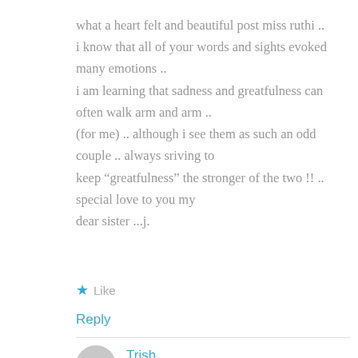what a heart felt and beautiful post miss ruthi .. i know that all of your words and sights evoked many emotions .. i am learning that sadness and greatfulness can often walk arm and arm .. (for me) .. although i see them as such an odd couple .. always sriving to keep “greatfulness” the stronger of the two !! .. special love to you my dear sister ...j.
★ Like
Reply
Trish